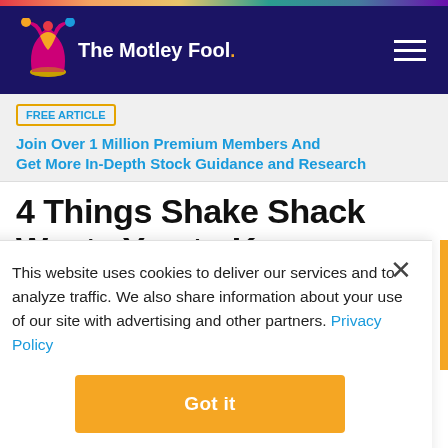[Figure (logo): The Motley Fool logo with jester hat and white text on dark navy background]
FREE ARTICLE  Join Over 1 Million Premium Members And Get More In-Depth Stock Guidance and Research
4 Things Shake Shack Wants You to Know
By Demitri Kalogeropoulos - Feb 22, 2018 at 11:00AM
This website uses cookies to deliver our services and to analyze traffic. We also share information about your use of our site with advertising and other partners. Privacy Policy
Got it
Cookie Settings